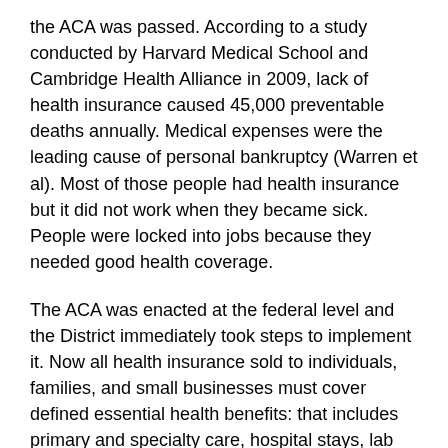the ACA was passed. According to a study conducted by Harvard Medical School and Cambridge Health Alliance in 2009, lack of health insurance caused 45,000 preventable deaths annually. Medical expenses were the leading cause of personal bankruptcy (Warren et al). Most of those people had health insurance but it did not work when they became sick. People were locked into jobs because they needed good health coverage.
The ACA was enacted at the federal level and the District immediately took steps to implement it. Now all health insurance sold to individuals, families, and small businesses must cover defined essential health benefits: that includes primary and specialty care, hospital stays, lab work, preventive care (with no cost sharing), maternity care, mental health and substance abuse treatment. Annual and lifetime limits on coverage are prohibited. People cannot be denied coverage or charged more because they had a medical condition in the past or currently. Pre-existing medical conditions cannot be excluded from coverage. And, women are no longer a “pre-existing condition” and cannot be charged higher rates than men. There